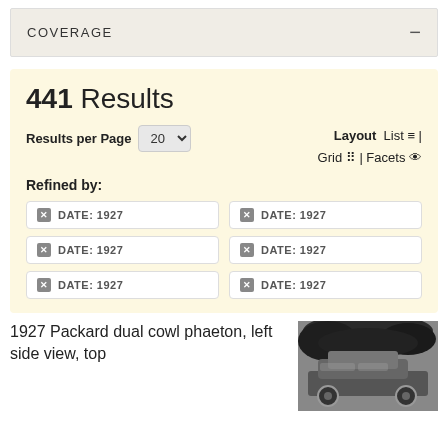COVERAGE
441 Results
Results per Page 20  Layout List | Grid | Facets
Refined by:
DATE: 1927
DATE: 1927
DATE: 1927
DATE: 1927
DATE: 1927
DATE: 1927
1927 Packard dual cowl phaeton, left side view, top
[Figure (photo): Black and white photograph of a 1927 Packard dual cowl phaeton automobile, left side view, top up, partially obscured by foliage]